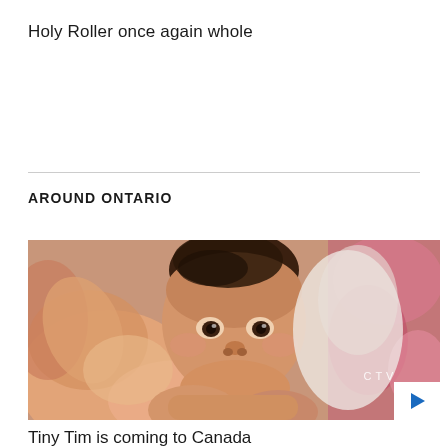Holy Roller once again whole
AROUND ONTARIO
[Figure (photo): Close-up photo of a baby lying on a floral patterned blanket, looking upward. CTV watermark visible in bottom right corner with a play button overlay.]
Tiny Tim is coming to Canada